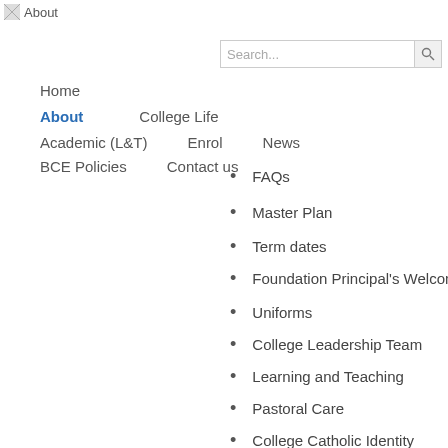[Figure (logo): About logo/image placeholder with alt text 'About']
Search...
Home
About  College Life
Academic (L&T)   Enrol   News
BCE Policies   Contact us
FAQs
Master Plan
Term dates
Foundation Principal's Welcome
Uniforms
College Leadership Team
Learning and Teaching
Pastoral Care
College Catholic Identity
Parent Engagement